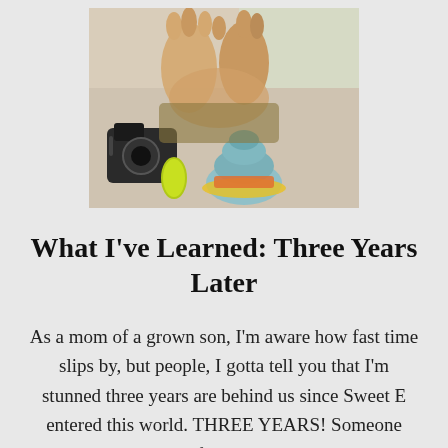[Figure (photo): Close-up photo of a young child's hands holding toys/objects, including what appears to be a camera and a blue stacking toy, on a light background.]
What I've Learned: Three Years Later
As a mom of a grown son, I'm aware how fast time slips by, but people, I gotta tell you that I'm stunned three years are behind us since Sweet E entered this world. THREE YEARS! Someone grab a fan, and some